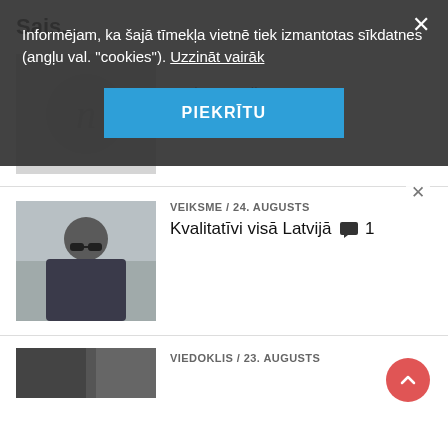Sais...
[Figure (screenshot): Article thumbnail with circular logo placeholder]
Radārs Latvijā
[Figure (photo): Man with sunglasses and dark jacket in city street]
VEIKSME / 24. augusts
Kvalitatīvi visā Latvijā 💬 1
[Figure (photo): Dark grayscale photo (partially visible)]
VIEDOKLIS / 23. augusts
[Figure (screenshot): Cookie consent overlay with PIEKRĪTU button]
Informējam, ka šajā tīmekļa vietnē tiek izmantotas sīkdatnes (angļu val. "cookies"). Uzzināt vairāk